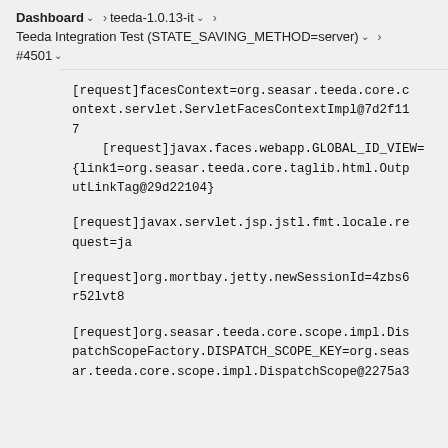Dashboard > teeda-1.0.13-it > Teeda Integration Test (STATE_SAVING_METHOD=server) > #4501
[request]facesContext=org.seasar.teeda.core.context.servlet.ServletFacesContextImpl@7d2f117
    [request]javax.faces.webapp.GLOBAL_ID_VIEW={link1=org.seasar.teeda.core.taglib.html.OutputLinkTag@29d22104}
[request]javax.servlet.jsp.jstl.fmt.locale.request=ja
[request]org.mortbay.jetty.newSessionId=4zbs6r52lvt8
[request]org.seasar.teeda.core.scope.impl.DispatchScopeFactory.DISPATCH_SCOPE_KEY=org.seasar.teeda.core.scope.impl.DispatchScope@2275a3